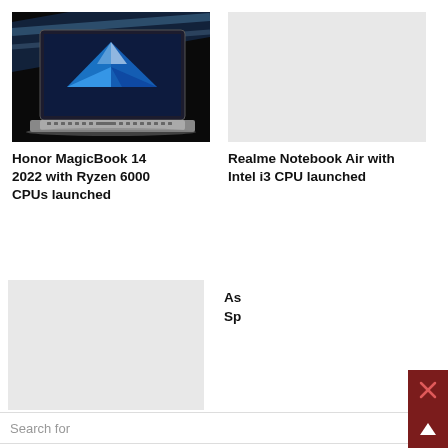[Figure (photo): Honor MagicBook 14 laptop on dark background with blue geometric design on screen]
Honor MagicBook 14 2022 with Ryzen 6000 CPUs launched
[Figure (photo): Light gray placeholder image for Realme Notebook article]
Realme Notebook Air with Intel i3 CPU launched
[Figure (photo): Light gray placeholder image for Asus ZenBook article]
As Sp
Search for
01. Exciting Offers On Asus ZenBook Pro >
02. Asus ZenBook Pro Duo Gaming >
Yahoo! Search | Sponsored